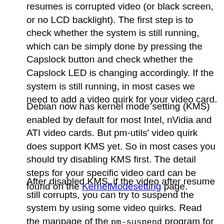resumes is corrupted video (or black screen, or no LCD backlight). The first step is to check whether the system is still running, which can be simply done by pressing the Capslock button and check whether the Capslock LED is changing accordingly. If the system is still running, in most cases we need to add a video quirk for your video card.
Debian now has kernel mode setting (KMS) enabled by default for most Intel, nVidia and ATI video cards. But pm-utils' video quirk does support KMS yet. So in most cases you should try disabling KMS first. The detail steps for your specific video card can be found on the KernelModesetting page.
After disabled KMS, if the video after resume still corrupts, you can try to suspend the system by using some video quirks. Read the manpage of the pm-suspend program for a very detailed explanation of